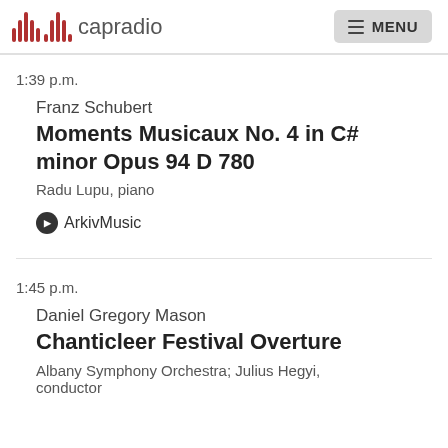capradio MENU
1:39 p.m.
Franz Schubert
Moments Musicaux No. 4 in C# minor Opus 94 D 780
Radu Lupu, piano
ArkivMusic
1:45 p.m.
Daniel Gregory Mason
Chanticleer Festival Overture
Albany Symphony Orchestra; Julius Hegyi, conductor